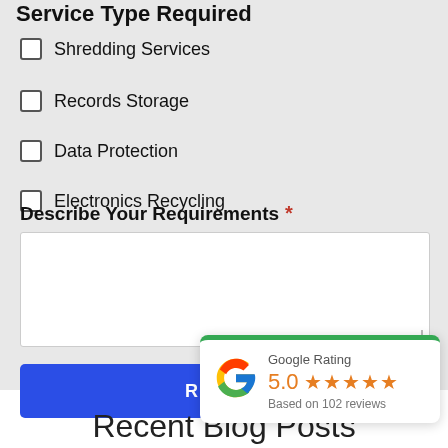Service Type Required
Shredding Services
Records Storage
Data Protection
Electronics Recycling
Describe Your Requirements *
[Figure (infographic): Google Rating widget showing 5.0 rating with 5 stars and 'Based on 102 reviews']
Recent Blog Posts